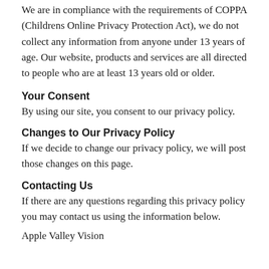We are in compliance with the requirements of COPPA (Childrens Online Privacy Protection Act), we do not collect any information from anyone under 13 years of age. Our website, products and services are all directed to people who are at least 13 years old or older.
Your Consent
By using our site, you consent to our privacy policy.
Changes to Our Privacy Policy
If we decide to change our privacy policy, we will post those changes on this page.
Contacting Us
If there are any questions regarding this privacy policy you may contact us using the information below.
Apple Valley Vision